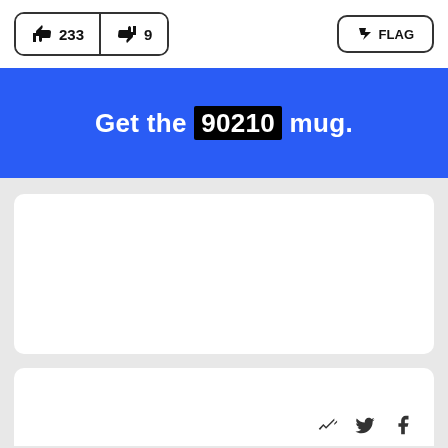[Figure (screenshot): Top bar with thumbs up (233) and thumbs down (9) vote buttons, and a FLAG button on the right]
Get the 90210 mug.
[Figure (other): White card content area (empty/advertisement placeholder)]
[Figure (other): Bottom white card with social sharing icons]